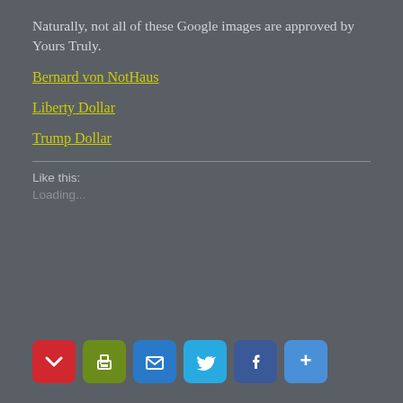Naturally, not all of these Google images are approved by Yours Truly.
Bernard von NotHaus
Liberty Dollar
Trump Dollar
Like this:
Loading...
[Figure (other): Row of social sharing icon buttons: Pocket (red), Print (green), Email (blue), Twitter (light blue), Facebook (dark blue), More/Share (blue)]